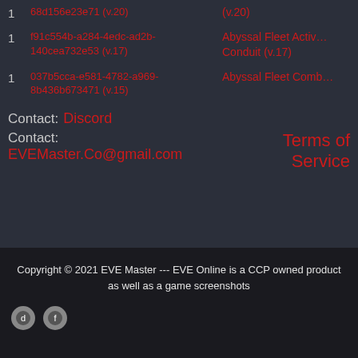1   68d156e23e71 (v.20)   (v.20)
1   f91c554b-a284-4edc-ad2b-140cea732e53 (v.17)   Abyssal Fleet Activ... Conduit (v.17)
1   037b5cca-e581-4782-a969-8b436b673471 (v.15)   Abyssal Fleet Comb...
Contact: Discord
Contact:   EVEMaster.Co@gmail.com     Terms of Service
Copyright © 2021 EVE Master --- EVE Online is a CCP owned product as well as a game screenshots